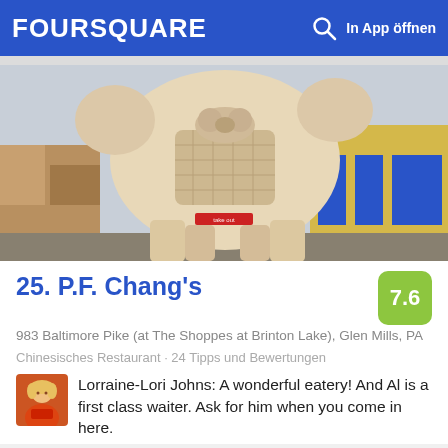FOURSQUARE   In App öffnen
[Figure (photo): Large cream/beige stone sculpture of a horse or mythological animal with saddlebag, viewed from below. Background shows stone wall on left and yellow building with blue awnings on right.]
25. P.F. Chang's
7.6
983 Baltimore Pike (at The Shoppes at Brinton Lake), Glen Mills, PA
Chinesisches Restaurant · 24 Tipps und Bewertungen
Lorraine-Lori Johns: A wonderful eatery! And Al is a first class waiter. Ask for him when you come in here.